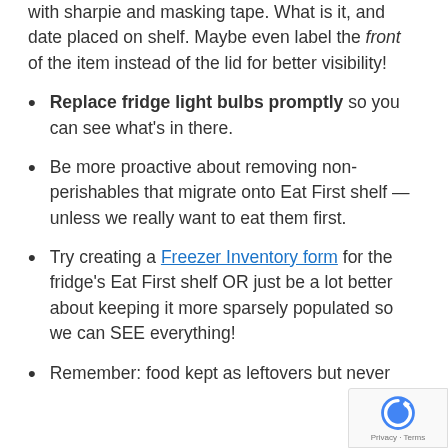with sharpie and masking tape. What is it, and date placed on shelf. Maybe even label the front of the item instead of the lid for better visibility!
Replace fridge light bulbs promptly so you can see what's in there.
Be more proactive about removing non-perishables that migrate onto Eat First shelf — unless we really want to eat them first.
Try creating a Freezer Inventory form for the fridge's Eat First shelf OR just be a lot better about keeping it more sparsely populated so we can SEE everything!
Remember: food kept as leftovers but never